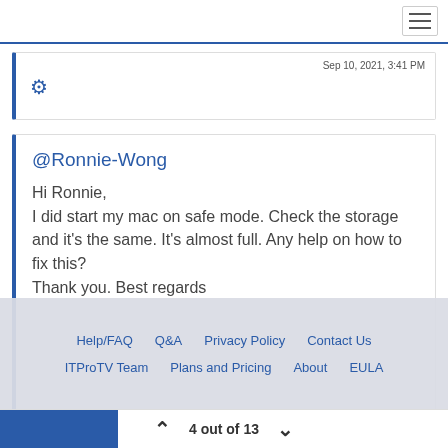Sep 10, 2021, 3:41 PM
@Ronnie-Wong

Hi Ronnie,
I did start my mac on safe mode. Check the storage and it's the same. It's almost full. Any help on how to fix this?
Thank you. Best regards
Dennis Miras | Sep 14, 2021, 3:16 PM
Help/FAQ  Q&A  Privacy Policy  Contact Us  ITProTV Team  Plans and Pricing  About  EULA
4 out of 13